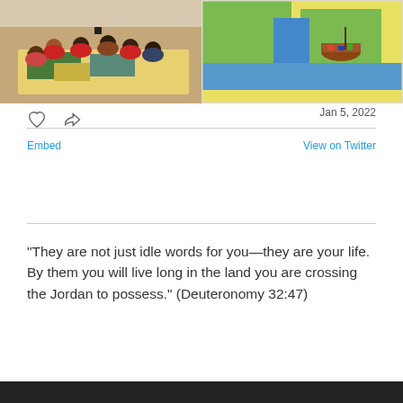[Figure (photo): Two photos side by side: left photo shows children sitting on a large floor map in a school hall; right photo shows a painted map with a wooden boat model on it.]
Jan 5, 2022
Embed   View on Twitter
"They are not just idle words for you—they are your life. By them you will live long in the land you are crossing the Jordan to possess." (Deuteronomy 32:47)